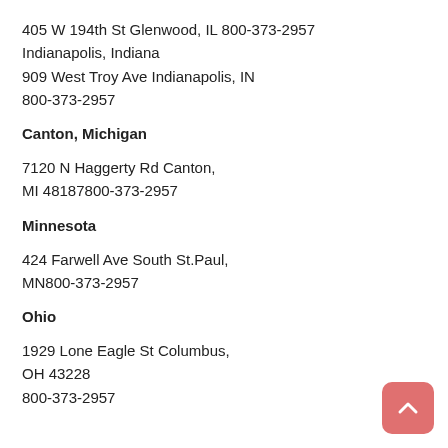405 W 194th St Glenwood, IL 800-373-2957
Indianapolis, Indiana
909 West Troy Ave Indianapolis, IN
800-373-2957
Canton, Michigan
7120 N Haggerty Rd Canton,
MI 48187800-373-2957
Minnesota
424 Farwell Ave South St.Paul,
MN800-373-2957
Ohio
1929 Lone Eagle St Columbus,
OH 43228
800-373-2957